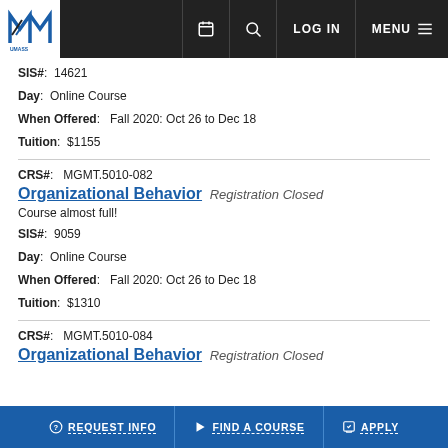UMass Lowell navigation bar with logo, calendar, search, LOG IN, MENU
SIS#: 14621
Day: Online Course
When Offered: Fall 2020: Oct 26 to Dec 18
Tuition: $1155
CRS#: MGMT.5010-082
Organizational Behavior Registration Closed
Course almost full!
SIS#: 9059
Day: Online Course
When Offered: Fall 2020: Oct 26 to Dec 18
Tuition: $1310
CRS#: MGMT.5010-084
Organizational Behavior Registration Closed
REQUEST INFO | FIND A COURSE | APPLY